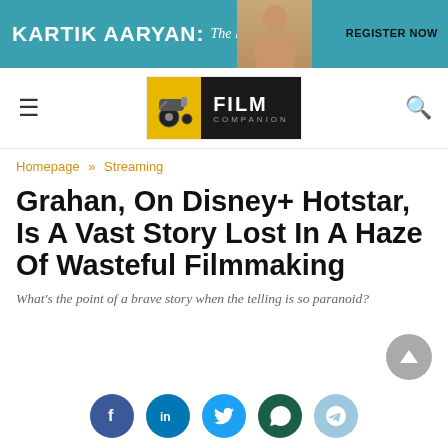[Figure (other): Banner advertisement for 'Kartik Aaryan: The Hit Machine' with teal background, actor photo, and 'Register Now' text]
[Figure (logo): Film Companion logo with motorcycle graphic on yellow background and dark background with white FILM COMPANION text]
Homepage » Streaming
Grahan, On Disney+ Hotstar, Is A Vast Story Lost In A Haze Of Wasteful Filmmaking
What's the point of a brave story when the telling is so paranoid?
[Figure (other): Social sharing buttons: Facebook, LinkedIn, Twitter, WhatsApp, Telegram]